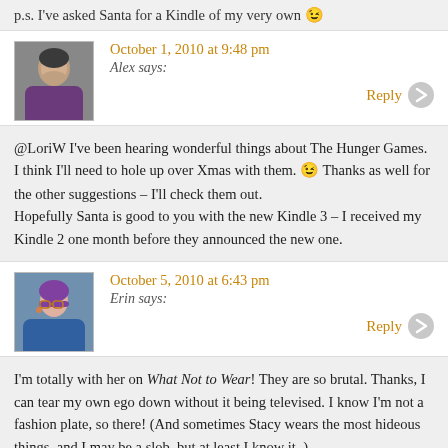p.s. I've asked Santa for a Kindle of my very own 😉
October 1, 2010 at 9:48 pm
Alex says:
@LoriW I've been hearing wonderful things about The Hunger Games. I think I'll need to hole up over Xmas with them. 😉 Thanks as well for the other suggestions – I'll check them out.
Hopefully Santa is good to you with the new Kindle 3 – I received my Kindle 2 one month before they announced the new one.
October 5, 2010 at 6:43 pm
Erin says:
I'm totally with her on What Not to Wear! They are so brutal. Thanks, I can tear my own ego down without it being televised. I know I'm not a fashion plate, so there! (And sometimes Stacy wears the most hideous things, and I may be a slob, but at least I know it. )